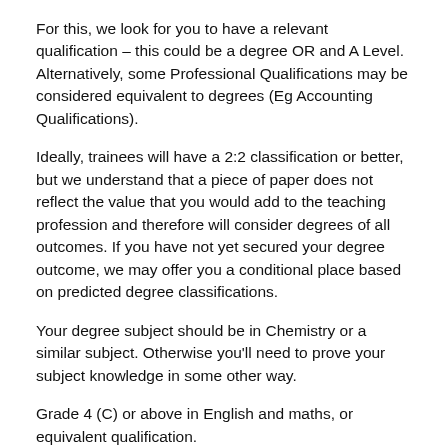For this, we look for you to have a relevant qualification – this could be a degree OR and A Level. Alternatively, some Professional Qualifications may be considered equivalent to degrees (Eg Accounting Qualifications).
Ideally, trainees will have a 2:2 classification or better, but we understand that a piece of paper does not reflect the value that you would add to the teaching profession and therefore will consider degrees of all outcomes. If you have not yet secured your degree outcome, we may offer you a conditional place based on predicted degree classifications.
Your degree subject should be in Chemistry or a similar subject. Otherwise you'll need to prove your subject knowledge in some other way.
Grade 4 (C) or above in English and maths, or equivalent qualification.
We'll consider candidates with pending GCSEs.
We'll consider candidates who need to take a GCSE equivalency test in English or maths.